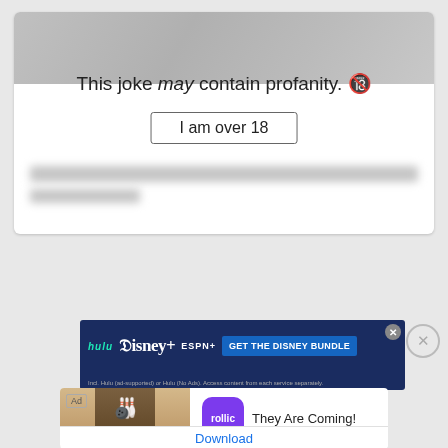[Figure (screenshot): Content warning card with blurred background image and 'I am over 18' button]
This joke may contain profanity. 🔞
I am over 18
[Figure (screenshot): Disney Bundle advertisement banner with Hulu, Disney+, ESPN+ logos and 'GET THE DISNEY BUNDLE' button]
[Figure (screenshot): Rollic mobile game ad showing 'They Are Coming!' with Hold and Move game screenshot and Download button]